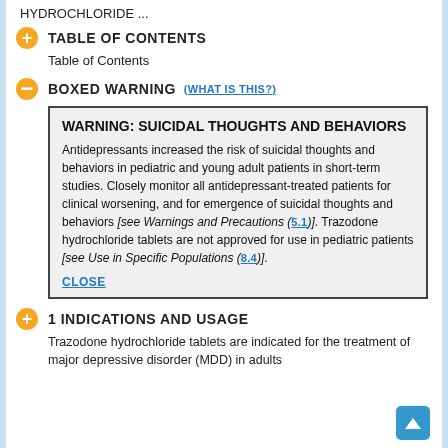HYDROCHLORIDE ...
TABLE OF CONTENTS
Table of Contents
BOXED WARNING (WHAT IS THIS?)
WARNING: SUICIDAL THOUGHTS AND BEHAVIORS

Antidepressants increased the risk of suicidal thoughts and behaviors in pediatric and young adult patients in short-term studies. Closely monitor all antidepressant-treated patients for clinical worsening, and for emergence of suicidal thoughts and behaviors [see Warnings and Precautions (5.1)]. Trazodone hydrochloride tablets are not approved for use in pediatric patients [see Use in Specific Populations (8.4)].
CLOSE
1 INDICATIONS AND USAGE
Trazodone hydrochloride tablets are indicated for the treatment of major depressive disorder (MDD) in adults